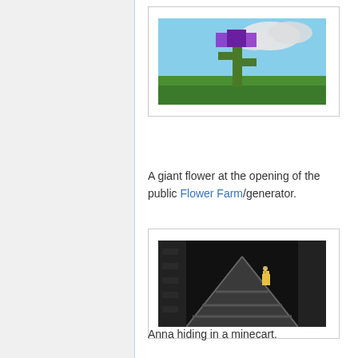[Figure (screenshot): Minecraft screenshot showing a giant flower structure made of blocks against a blue sky with clouds]
A giant flower at the opening of the public Flower Farm/generator.
[Figure (screenshot): Minecraft screenshot showing a dark minecart track at night with a character visible]
Anna hiding in a minecart.